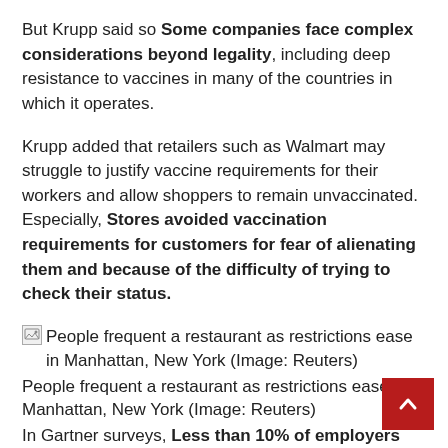But Krupp said so Some companies face complex considerations beyond legality, including deep resistance to vaccines in many of the countries in which it operates.
Krupp added that retailers such as Walmart may struggle to justify vaccine requirements for their workers and allow shoppers to remain unvaccinated. Especially, Stores avoided vaccination requirements for customers for fear of alienating them and because of the difficulty of trying to check their status.
[Figure (photo): Broken image placeholder for photo of people frequenting a restaurant as restrictions ease in Manhattan, New York (Image: Reuters)]
People frequent a restaurant as restrictions ease in Manhattan, New York (Image: Reuters)
People frequent a restaurant as restrictions ease in Manhattan, New York (Image: Reuters)
In Gartner surveys, Less than 10% of employers said they intended to vaccinate all employees.